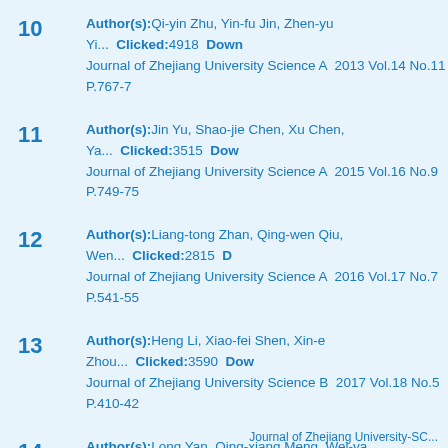10 Author(s):Qi-yin Zhu, Yin-fu Jin, Zhen-yu Yi... Clicked:4918 Down... Journal of Zhejiang University Science A 2013 Vol.14 No.11 P.767-7...
11 Author(s):Jin Yu, Shao-jie Chen, Xu Chen, Ya... Clicked:3515 Dow... Journal of Zhejiang University Science A 2015 Vol.16 No.9 P.749-75...
12 Author(s):Liang-tong Zhan, Qing-wen Qiu, Wen... Clicked:2815 D... Journal of Zhejiang University Science A 2016 Vol.17 No.7 P.541-55...
13 Author(s):Heng Li, Xiao-fei Shen, Xin-e Zhou... Clicked:3590 Dow... Journal of Zhejiang University Science B 2017 Vol.18 No.5 P.410-42...
14 Author(s):Long Yan, Qing-xiang Meng, Wei-ya ... Clicked:4271 Do... Journal of Zhejiang University Science A 2017 Vol.18 No.2 P.124-13...
15 Author(s):Qian Zhai, Harianto Rahardjo, Alfr... Clicked:2654 Dow... Journal of Zhejiang University Science A 2019 Vol.20 No.1 P.10-20
Journal of Zhejiang University-SC...